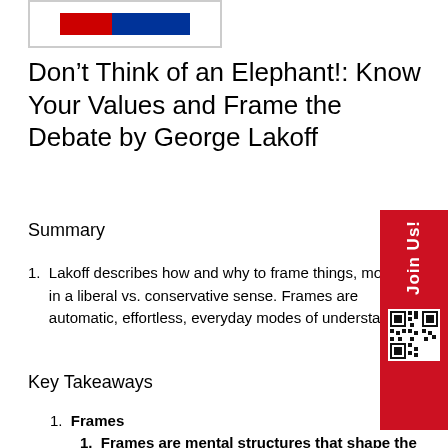[Figure (logo): Logo image with blue and red bar]
Don’t Think of an Elephant!: Know Your Values and Frame the Debate by George Lakoff
Summary
Lakoff describes how and why to frame things, mostly in a liberal vs. conservative sense. Frames are automatic, effortless, everyday modes of understand…
Key Takeaways
Frames
Frames are mental structures that shape the way we see the world. As a result, they shape the goals we seek, the plans we make, the way we act, and what counts as a…